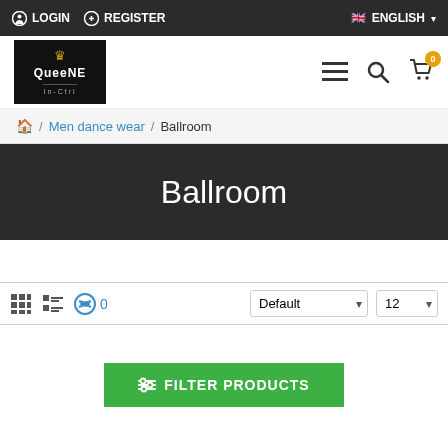LOGIN  REGISTER  ENGLISH
[Figure (logo): QueenE brand logo with crown icon on black background]
Men dance wear / Ballroom
Ballroom
Default  12  filter toggle  0
FILTER PRODUCTS